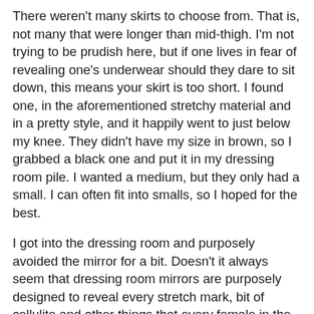There weren't many skirts to choose from. That is, not many that were longer than mid-thigh. I'm not trying to be prudish here, but if one lives in fear of revealing one's underwear should they dare to sit down, this means your skirt is too short. I found one, in the aforementioned stretchy material and in a pretty style, and it happily went to just below my knee. They didn't have my size in brown, so I grabbed a black one and put it in my dressing room pile. I wanted a medium, but they only had a small. I can often fit into smalls, so I hoped for the best.
I got into the dressing room and purposely avoided the mirror for a bit. Doesn't it always seem that dressing room mirrors are purposely designed to reveal every stretch mark, bit of cellulite and other things that every female in the universe wants desperately to keep hidden? They *do* want us to buy the clothes, right? So, my back to the mirror, I step into the skirt. I'm quickly flummoxed by the fact that I inexplicably seem to be stepping into a pair of shorts. This is a *skirt*, right? The sangria came AFTER the shopping trip, I promise.
Suddenly, I catch sight of the tag, which advertises boldly